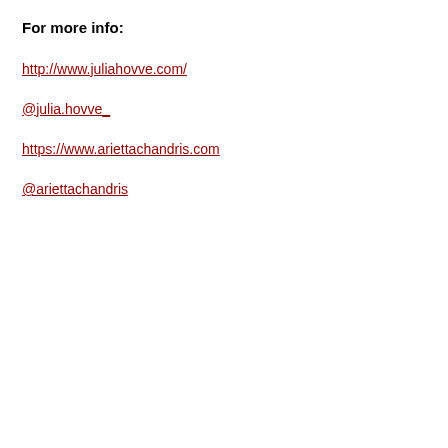For more info:
http://www.juliahovve.com/
@julia.hovve_
https://www.ariettachandris.com
@ariettachandris